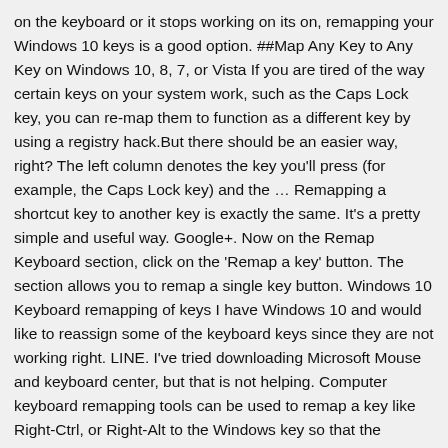on the keyboard or it stops working on its on, remapping your Windows 10 keys is a good option. ##Map Any Key to Any Key on Windows 10, 8, 7, or Vista If you are tired of the way certain keys on your system work, such as the Caps Lock key, you can re-map them to function as a different key by using a registry hack.But there should be an easier way, right? The left column denotes the key you'll press (for example, the Caps Lock key) and the … Remapping a shortcut key to another key is exactly the same. It's a pretty simple and useful way. Google+. Now on the Remap Keyboard section, click on the 'Remap a key' button. The section allows you to remap a single key button. Windows 10 Keyboard remapping of keys I have Windows 10 and would like to reassign some of the keyboard keys since they are not working right. LINE. I've tried downloading Microsoft Mouse and keyboard center, but that is not helping. Computer keyboard remapping tools can be used to remap a key like Right-Ctrl, or Right-Alt to the Windows key so that the functionality becomes available. Despite all the changes Windows has made over the past 35 years, there is one thing that hasn't changed much: the keyboard. The